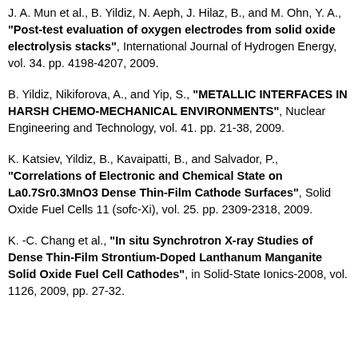J. A. Mun et al., B. Yildiz, N. Aeph, J. Hilaz, B., and M. Ohn, Y. A., "Post-test evaluation of oxygen electrodes from solid oxide electrolysis stacks", International Journal of Hydrogen Energy, vol. 34. pp. 4198-4207, 2009.
B. Yildiz, Nikiforova, A., and Yip, S., "METALLIC INTERFACES IN HARSH CHEMO-MECHANICAL ENVIRONMENTS", Nuclear Engineering and Technology, vol. 41. pp. 21-38, 2009.
K. Katsiev, Yildiz, B., Kavaipatti, B., and Salvador, P., "Correlations of Electronic and Chemical State on La0.7Sr0.3MnO3 Dense Thin-Film Cathode Surfaces", Solid Oxide Fuel Cells 11 (sofc-Xi), vol. 25. pp. 2309-2318, 2009.
K. -C. Chang et al., "In situ Synchrotron X-ray Studies of Dense Thin-Film Strontium-Doped Lanthanum Manganite Solid Oxide Fuel Cell Cathodes", in Solid-State Ionics-2008, vol. 1126, 2009, pp. 27-32.